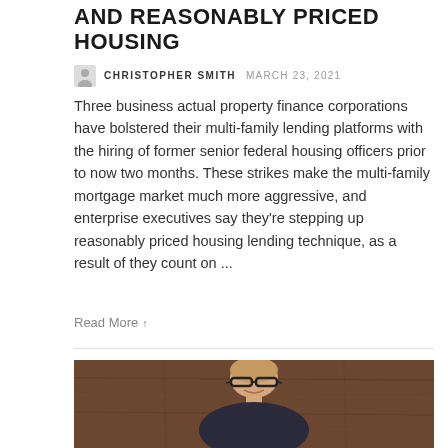AND REASONABLY PRICED HOUSING
CHRISTOPHER SMITH  MARCH 23, 2021
Three business actual property finance corporations have bolstered their multi-family lending platforms with the hiring of former senior federal housing officers prior to now two months. These strikes make the multi-family mortgage market much more aggressive, and enterprise executives say they’re stepping up reasonably priced housing lending technique, as a result of they count on ...
Read More
[Figure (photo): Portrait photo of a man with glasses and light brown hair, smiling, against a wooden background.]